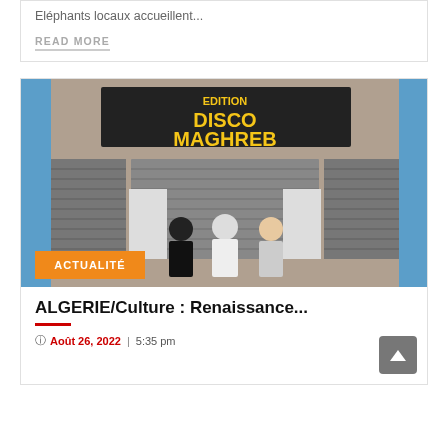Eléphants locaux accueillent...
READ MORE
[Figure (photo): Three men standing in front of a closed 'Edition Disco Maghreb' store with metal shutters, on an Algerian street. Orange badge reads 'ACTUALITÉ'.]
ALGERIE/Culture : Renaissance...
Août 26, 2022 | 5:35 pm